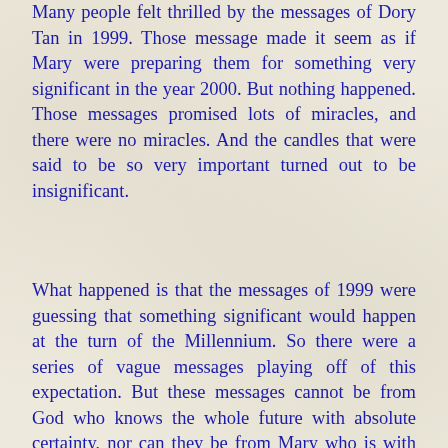Many people felt thrilled by the messages of Dory Tan in 1999. Those message made it seem as if Mary were preparing them for something very significant in the year 2000. But nothing happened. Those messages promised lots of miracles, and there were no miracles. And the candles that were said to be so very important turned out to be insignificant.
What happened is that the messages of 1999 were guessing that something significant would happen at the turn of the Millennium. So there were a series of vague messages playing off of this expectation. But these messages cannot be from God who knows the whole future with absolute certainty, nor can they be from Mary who is with God in